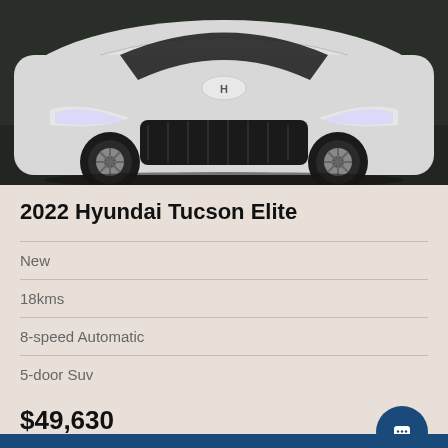[Figure (photo): Front view of a white 2022 Hyundai Tucson SUV parked indoors on a dark floor, showing the front grille, headlights, bumper, and wheels.]
2022 Hyundai Tucson Elite
New
18kms
8-speed Automatic
5-door Suv
$49,630
Drive Away